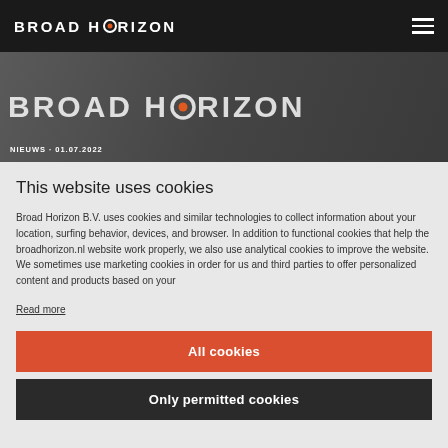BROAD HORIZON
[Figure (photo): Broad Horizon building exterior with large logo sign, with NIEUWS 01.07.2022 label]
This website uses cookies
Broad Horizon B.V. uses cookies and similar technologies to collect information about your location, surfing behavior, devices, and browser. In addition to functional cookies that help the broadhorizon.nl website work properly, we also use analytical cookies to improve the website. We sometimes use marketing cookies in order for us and third parties to offer personalized content and products based on your
Read more
All cookies
Only permitted cookies